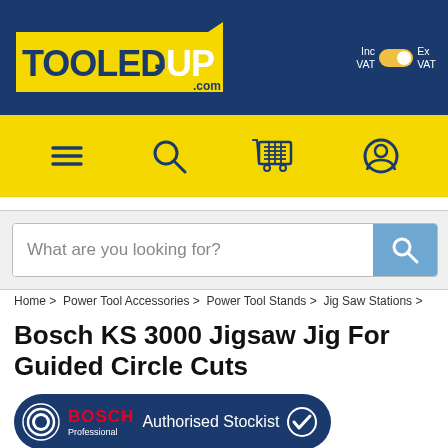[Figure (logo): Tooled-Up.com logo on dark blue header with Inc VAT / Ex VAT toggle]
[Figure (screenshot): Yellow navigation bar with menu, search, cart, and user account icons]
[Figure (screenshot): Search bar with placeholder text 'What are you looking for?' and blue search button]
Home > Power Tool Accessories > Power Tool Stands > Jig Saw Stations >
Bosch KS 3000 Jigsaw Jig For Guided Circle Cuts
[Figure (logo): Bosch Professional Authorised Stockist badge on dark blue rounded rectangle]